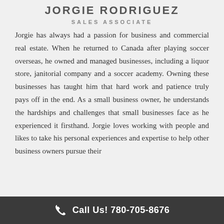JORGIE RODRIGUEZ
SALES ASSOCIATE
Jorgie has always had a passion for business and commercial real estate. When he returned to Canada after playing soccer overseas, he owned and managed businesses, including a liquor store, janitorial company and a soccer academy. Owning these businesses has taught him that hard work and patience truly pays off in the end. As a small business owner, he understands the hardships and challenges that small businesses face as he experienced it firsthand. Jorgie loves working with people and likes to take his personal experiences and expertise to help other business owners pursue their
Call Us! 780-705-8676